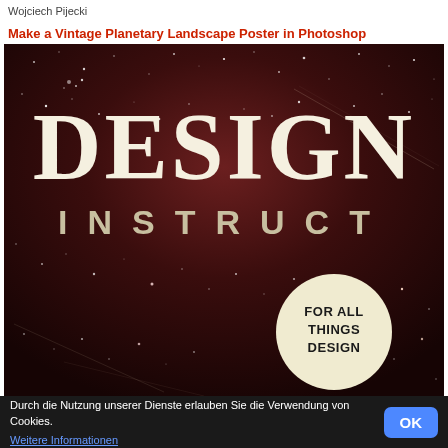Wojciech Pijecki
Make a Vintage Planetary Landscape Poster in Photoshop
[Figure (illustration): A dark, deep red/maroon starry night sky background with the text 'DESIGN' in large serif cream letters and 'INSTRUCT' in spaced sans-serif letters below it. A circular badge at the bottom right reads 'FOR ALL THINGS DESIGN'. Diagonal streaks suggest shooting stars or light flares.]
Durch die Nutzung unserer Dienste erlauben Sie die Verwendung von Cookies.
Weitere Informationen